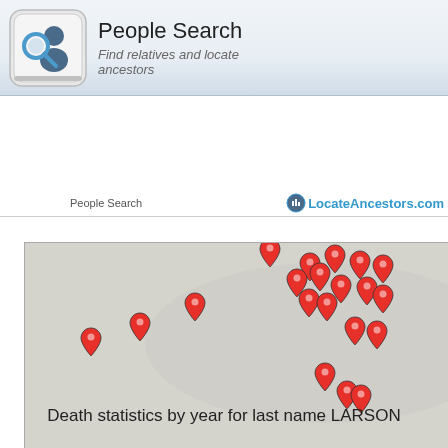[Figure (logo): People Search logo with keyboard key icon featuring a person and magnifying glass, with title 'People Search' and subtitle 'Find relatives and locate ancestors']
People Search | LocateAncestors.com
[Figure (map): Geographic map showing multiple red location pin markers clustered in the upper-right region of the map, with a lighter grey background representing land area. Attribution: Leaflet | Tiles OpenMapTiles | Data OpenStreetMap contributors]
Death statistics by year for last name LARSON